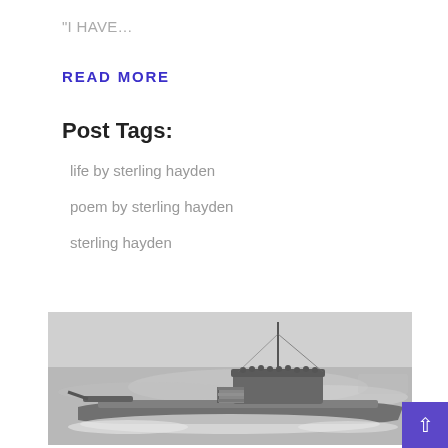"I HAVE...
READ MORE
Post Tags:
life by sterling hayden
poem by sterling hayden
sterling hayden
[Figure (photo): Black and white photograph of a submarine at sea with an American flag and crew members visible on the conning tower]